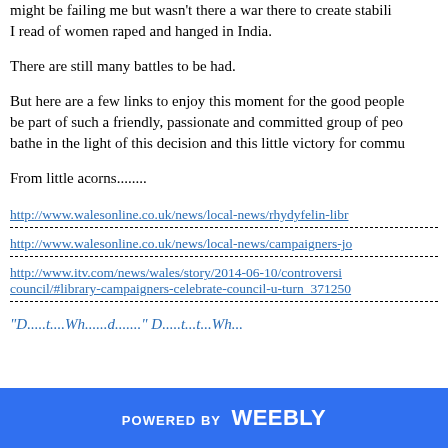might be failing me but wasn't there a war there to create stability. I read of women raped and hanged in India.
There are still many battles to be had.
But here are a few links to enjoy this moment for the good people. be part of such a friendly, passionate and committed group of people. bathe in the light of this decision and this little victory for community.
From little acorns........
http://www.walesonline.co.uk/news/local-news/rhydyfelin-libr
http://www.walesonline.co.uk/news/local-news/campaigners-jo
http://www.itv.com/news/wales/story/2014-06-10/controversi council/#library-campaigners-celebrate-council-u-turn_371250
POWERED BY weebly